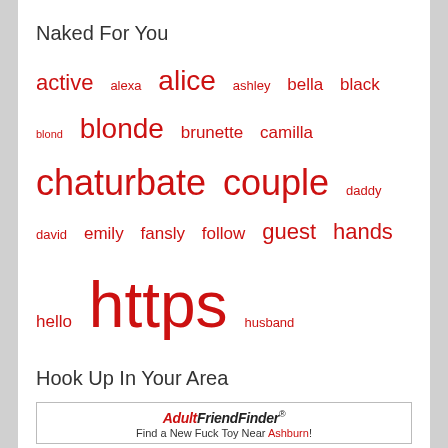Naked For You
[Figure (infographic): Tag cloud with words in varying red font sizes: active, alexa, alice, ashley, bella, black, blond, blonde, brunette, camilla, chaturbate, couple, daddy, david, emily, fansly, follow, guest, hands, hello, https, husband, instagram, julia, kevin, kristine, lovense, lucky, megan, melissa, molly, moscow, neighbor, online, onlyfans, pleasure, private, ruben, safinna, sofia, stream, twitter, videos, welcome, years]
Hook Up In Your Area
[Figure (logo): AdultFriendFinder logo with tagline: Find a New Fuck Toy Near Ashburn!]